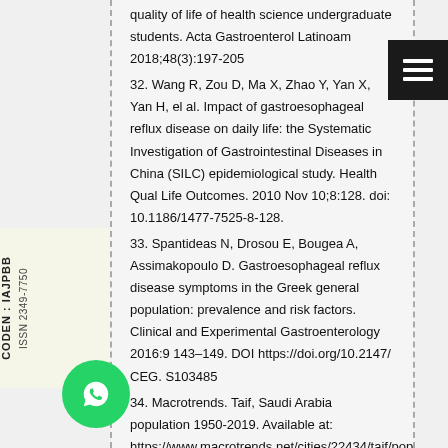quality of life of health science undergraduate students. Acta Gastroenterol Latinoam 2018;48(3):197-205
32. Wang R, Zou D, Ma X, Zhao Y, Yan X, Yan H, el al. Impact of gastroesophageal reflux disease on daily life: the Systematic Investigation of Gastrointestinal Diseases in China (SILC) epidemiological study. Health Qual Life Outcomes. 2010 Nov 10;8:128. doi: 10.1186/1477-7525-8-128.
33. Spantideas N, Drosou E, Bougea A, Assimakopoulo D. Gastroesophageal reflux disease symptoms in the Greek general population: prevalence and risk factors. Clinical and Experimental Gastroenterology 2016:9 143–149. DOI https://doi.org/10.2147/ CEG. S103485
34. Macrotrends. Taif, Saudi Arabia population 1950-2019. Available at: https://www.macrotrends.net/cities/22434/taif/pop